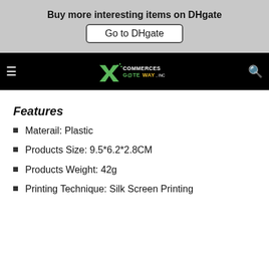Buy more interesting items on DHgate
Go to DHgate
[Figure (logo): Commerces Gateway Inc. logo on black navigation bar with hamburger menu on left and search icon on right]
Features
Materail: Plastic
Products Size: 9.5*6.2*2.8CM
Products Weight: 42g
Printing Technique: Silk Screen Printing